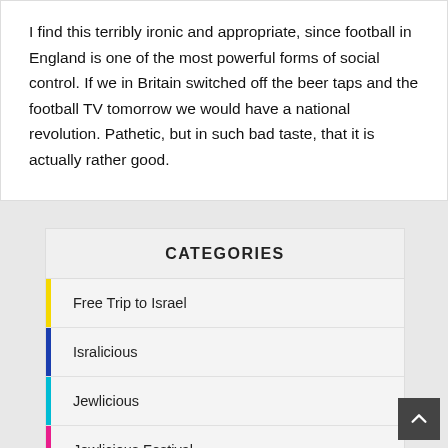I find this terribly ironic and appropriate, since football in England is one of the most powerful forms of social control. If we in Britain switched off the beer taps and the football TV tomorrow we would have a national revolution. Pathetic, but in such bad taste, that it is actually rather good.
CATEGORIES
Free Trip to Israel
Isralicious
Jewlicious
Jewlicious Festival
Popalicious